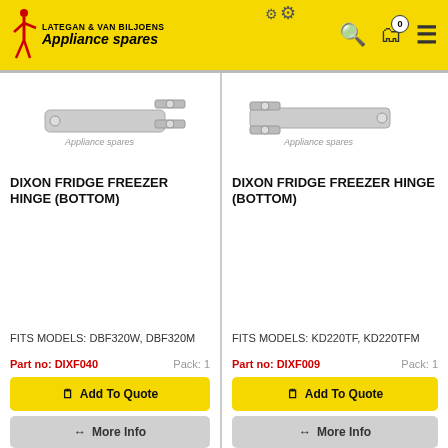LATEGAN & VAN BILJOENS Appliance Spares
[Figure (photo): Dixon fridge freezer bottom hinge part photo with Appliance Spares watermark, left product]
DIXON FRIDGE FREEZER HINGE (BOTTOM)
FITS MODELS: DBF320W, DBF320M
Part no: DIXF040    Pack: 1
[Figure (photo): Dixon fridge freezer bottom hinge part photo with Appliance Spares watermark, right product]
DIXON FRIDGE FREEZER HINGE (BOTTOM)
FITS MODELS: KD220TF, KD220TFM
Part no: DIXF009    Pack: 1